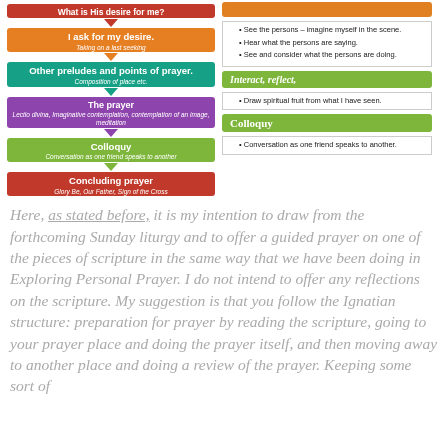[Figure (flowchart): Ignatian prayer structure flowchart with steps: What is His desire for me?, I ask for my desire (Taking on a last seeking), Other preludes and points of prayer (Composition of place etc), The prayer (Lectio divina, Imaginative contemplation, Contemplation of an image, meditation), Colloquy (Conversation as one friend speaks to another), Concluding prayer (Glory Be, Our Father, Sign of the Cross)]
[Figure (infographic): Right column info boxes: orange header (partially visible), bullet points about seeing/hearing persons in scene; Interact, reflect green header with bullet about drawing spiritual fruit; Colloquy green header with bullet about conversation as one friend speaks to another]
Here, as stated before, it is my intention to draw from the forthcoming Sunday liturgy and to offer a guided prayer on one of the pieces of scripture in the same way that we have been doing in Exploring Personal Prayer. I do not intend to offer any reflections on the scripture. My suggestion is that you follow the Ignatian structure: preparation for prayer by reading the scripture, going to your prayer place and doing the prayer itself, and then moving away to another place and doing a review of the prayer. Keeping some sort of